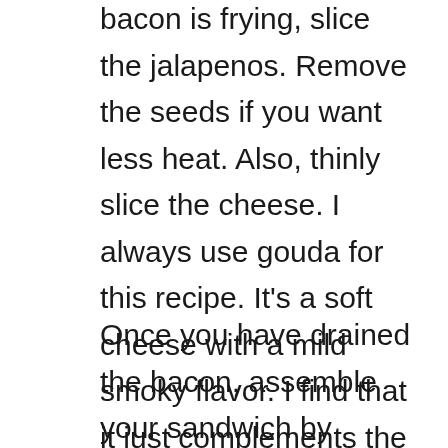bacon is frying, slice the jalapenos. Remove the seeds if you want less heat. Also, thinly slice the cheese. I always use gouda for this recipe. It's a soft cheese with a mild smoky flavor. I find that it just complements the other flavors perfectly.
Once you have drained the bacon, assemble your sandwich by layering the cheese, bacon, and jalapenos.